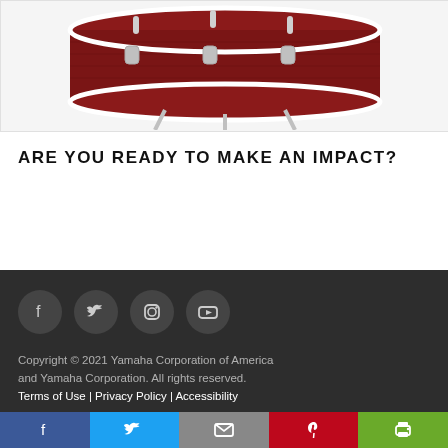[Figure (photo): Partial view of a red/dark maroon bass drum with chrome hardware and legs, on white background]
ARE YOU READY TO MAKE AN IMPACT?
[Figure (infographic): Dark footer section with four circular social media icons: Facebook (f), Twitter (bird), Instagram (camera), YouTube (play button)]
Copyright © 2021 Yamaha Corporation of America and Yamaha Corporation. All rights reserved. Terms of Use | Privacy Policy | Accessibility
[Figure (infographic): Share bar with five buttons: Facebook (blue), Twitter (light blue), Email (gray), Pinterest (red), Print (green)]